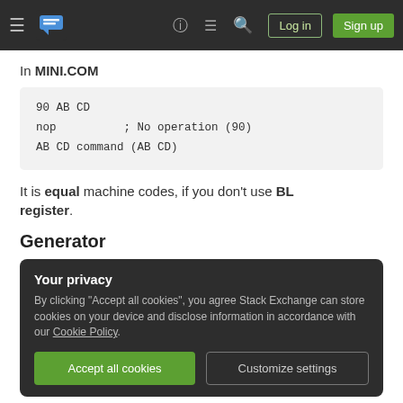Stack Exchange navigation bar with logo, help, chat, search, Log in, Sign up
In MINI.COM
90 AB CD
nop           ; No operation (90)
AB CD command (AB CD)
It is equal machine codes, if you don't use BL register.
Generator
Your privacy
By clicking "Accept all cookies", you agree Stack Exchange can store cookies on your device and disclose information in accordance with our Cookie Policy.
Accept all cookies   Customize settings